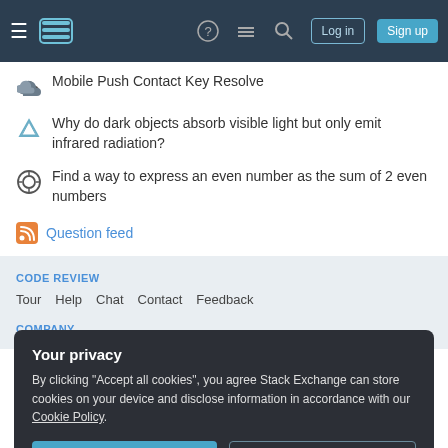Navigation bar with menu, logo, help, chat, search icons, Log in and Sign up buttons
Mobile Push Contact Key Resolve
Why do dark objects absorb visible light but only emit infrared radiation?
Find a way to express an even number as the sum of 2 even numbers
Question feed
CODE REVIEW
Tour  Help  Chat  Contact  Feedback
COMPANY
Your privacy
By clicking "Accept all cookies", you agree Stack Exchange can store cookies on your device and disclose information in accordance with our Cookie Policy.
Accept all cookies  Customize settings